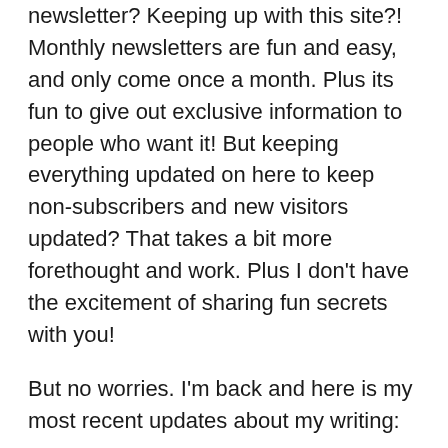newsletter? Keeping up with this site?! Monthly newsletters are fun and easy, and only come once a month. Plus its fun to give out exclusive information to people who want it! But keeping everything updated on here to keep non-subscribers and new visitors updated? That takes a bit more forethought and work. Plus I don't have the excitement of sharing fun secrets with you!
But no worries. I'm back and here is my most recent updates about my writing:
I have had a minor setback in my publishing plans. My goal to submit Lies of the Haven to a couple of small publishers by April will have to wait til September 1st due to one of the publishers putting a limit on manuscript submissions until that date.
But I was so far able to still make it a priority before the